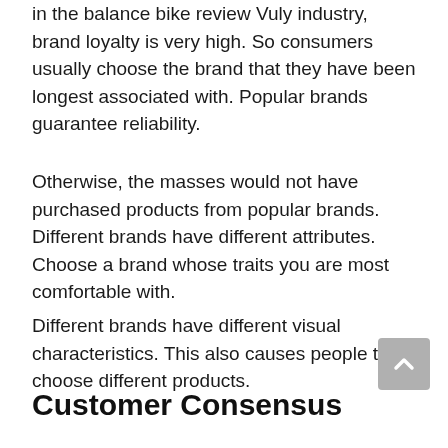in the balance bike review Vuly industry, brand loyalty is very high. So consumers usually choose the brand that they have been longest associated with. Popular brands guarantee reliability.
Otherwise, the masses would not have purchased products from popular brands. Different brands have different attributes. Choose a brand whose traits you are most comfortable with.
Different brands have different visual characteristics. This also causes people to choose different products.
Customer Consensus